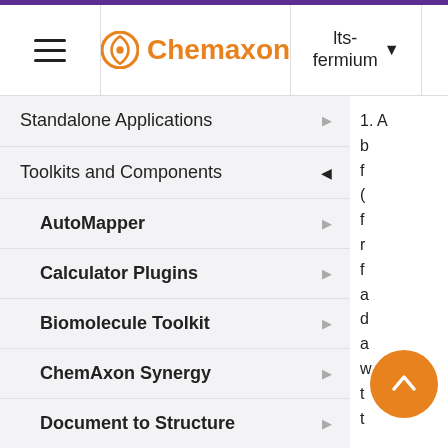Chemaxon — lts-fermium
Standalone Applications
Toolkits and Components
AutoMapper
Calculator Plugins
Biomolecule Toolkit
ChemAxon Synergy
Document to Structure
JChem Base
JChem Choral
1. A b f ( f r f a d a w t t